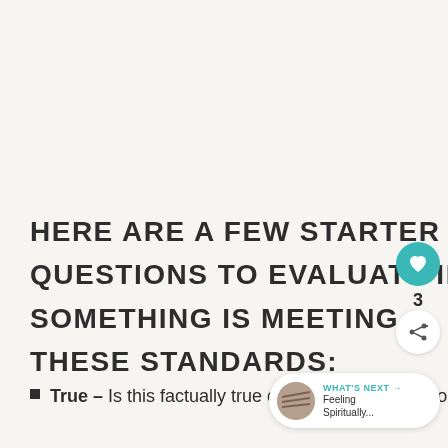HERE ARE A FEW STARTER QUESTIONS TO EVALUATE IF SOMETHING IS MEETING THESE STANDARDS:
True – Is this factually true or speculation? Is it gossip? If it